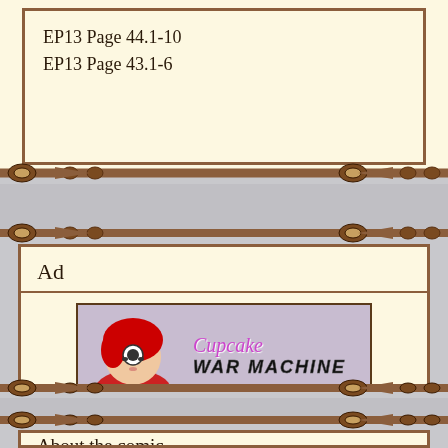EP13 Page 44.1-10
EP13 Page 43.1-6
Ad
[Figure (illustration): Advertisement banner for 'Cupcake War Machine' text adventure game, showing an animated character with red hair on the left, and the title 'Cupcake War Machine' in stylized text on a purple/lavender background, with a quote below: 'The most laughs I've ever had while playing a text adventure game.']
YOUR AD HERE $0.02
About the comic